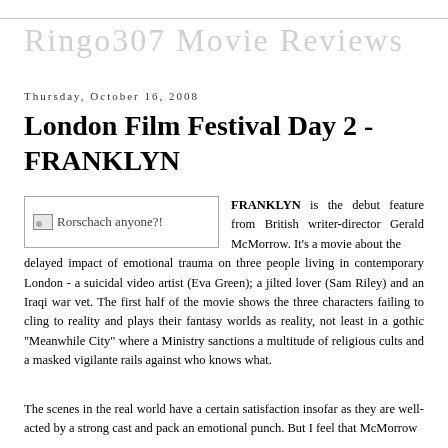Ringo307 Movie Reviews
Thursday, October 16, 2008
London Film Festival Day 2 - FRANKLYN
[Figure (photo): Image placeholder labeled 'Rorschach anyone?!']
FRANKLYN is the debut feature from British writer-director Gerald McMorrow. It's a movie about the delayed impact of emotional trauma on three people living in contemporary London - a suicidal video artist (Eva Green); a jilted lover (Sam Riley) and an Iraqi war vet. The first half of the movie shows the three characters failing to cling to reality and plays their fantasy worlds as reality, not least in a gothic "Meanwhile City" where a Ministry sanctions a multitude of religious cults and a masked vigilante rails against who knows what.
The scenes in the real world have a certain satisfaction insofar as they are well-acted by a strong cast and pack an emotional punch. But I feel that McMorrow